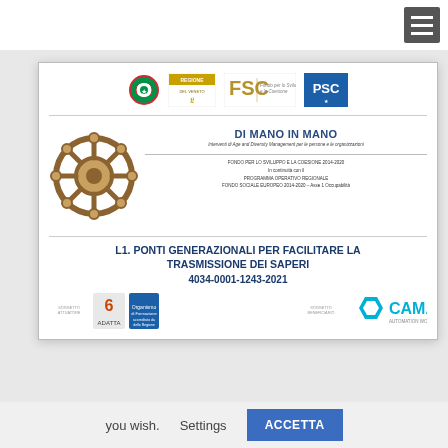[Figure (screenshot): Screenshot of a website with hamburger menu icon in top right, a modal dialog overlay, and a cookie consent bar at the bottom.]
[Figure (logo): Italian Republic emblem (cercle tricolore)]
[Figure (logo): Regione del Veneto logo with golden lion]
[Figure (logo): FSC - Fondo per lo Sviluppo e la Coesione logo]
[Figure (logo): PSC logo (blue with star)]
DI MANO IN MANO
Interventi di Age and Diversity Management per le persone e le organizzazioni
FONDO PER LO SVILUPPO E LA COESIONE 2014-2020
In continuità con il
PROGRAMMA OPERATIVO REGIONALE
FONDO SOCIALE EUROPEO 2014-2020 – Asse 1 Occupabilità
L1. PONTI GENERAZIONALI PER FACILITARE LA TRASMISSIONE DEI SAPERI
4034-0001-1243-2021
[Figure (logo): ADATTA Lifelong Learning logo with orange/red A icon and blue book]
[Figure (logo): CAMA logo with blue hexagon icon]
you wish.
Settings
ACCETTA